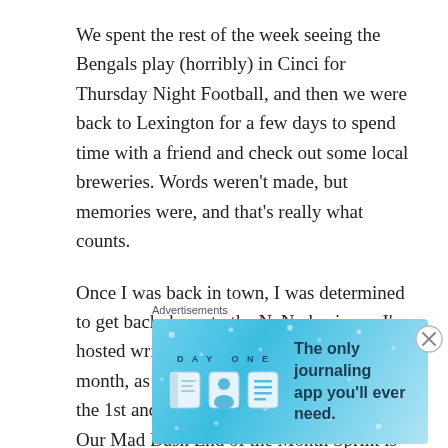We spent the rest of the week seeing the Bengals play (horribly) in Cinci for Thursday Night Football, and then we were back to Lexington for a few days to spend time with a friend and check out some local breweries. Words weren't made, but memories were, and that's really what counts.
Once I was back in town, I was determined to get back down to the NaNo business. I've hosted write-ins on every Monday this month, as well as having our Kick Off on the 1st and our Halfway There on the 15th. Our Mad Dash End of the Month Sprint is just a few days away on the 29th, and then we're done!
Advertisements
[Figure (other): DAY ONE app advertisement banner with blue background showing app icons and text 'The only journaling app you'll ever need.']